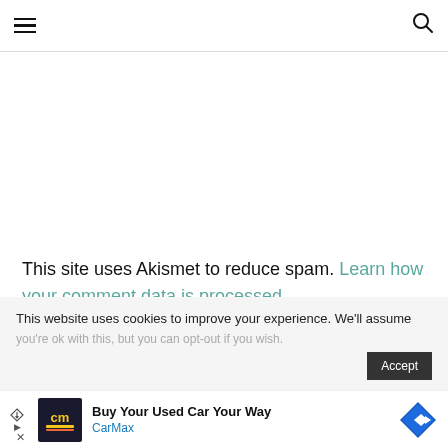Navigation bar with hamburger menu and search icon
This site uses Akismet to reduce spam. Learn how your comment data is processed.
This website uses cookies to improve your experience. We'll assume
[Figure (other): CarMax advertisement banner: 'Buy Your Used Car Your Way' with CarMax logo and blue diamond direction sign icon]